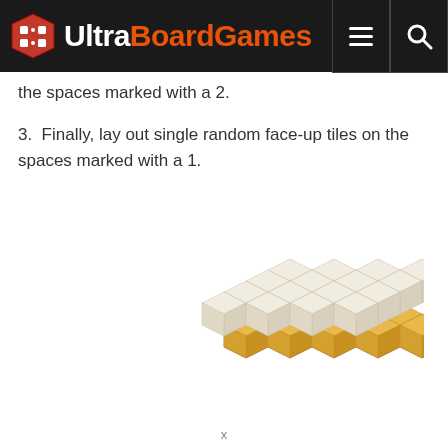UltraBoardGames
the spaces marked with a 2.
3.  Finally, lay out single random face-up tiles on the spaces marked with a 1.
[Figure (illustration): Isometric illustration of stacked board game tiles arranged in a cross/plus shape. White tiles on top, gold/yellow tiles in the middle layer, and brown/dark-tan tiles on the bottom layer.]
x